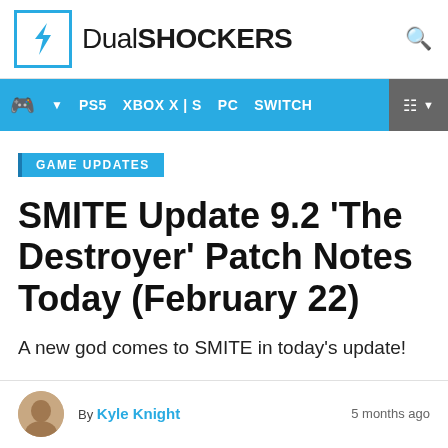DualSHOCKERS
PS5  XBOX X | S  PC  SWITCH
GAME UPDATES
SMITE Update 9.2 'The Destroyer' Patch Notes Today (February 22)
A new god comes to SMITE in today's update!
By Kyle Knight  5 months ago